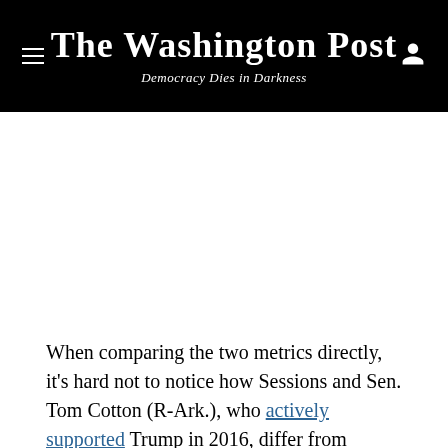The Washington Post
Democracy Dies in Darkness
When comparing the two metrics directly, it's hard not to notice how Sessions and Sen. Tom Cotton (R-Ark.), who actively supported Trump in 2016, differ from…